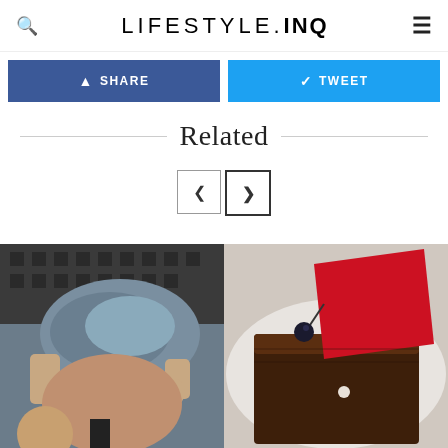LIFESTYLE.INQ
SHARE   TWEET
Related
[Figure (photo): Left: Photo of a person with an undercut hairstyle, gray/blue hair on top, viewed from behind. Right: Photo of a chocolate dessert with red decoration and dark berries on a plate.]